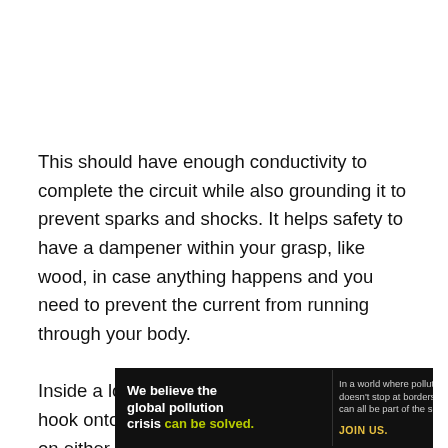This should have enough conductivity to complete the circuit while also grounding it to prevent sparks and shocks. It helps safety to have a dampener within your grasp, like wood, in case anything happens and you need to prevent the current from running through your body.

Inside a lot of clamps, the grounding strap will hook onto a lug. There's a contact plate inside on either side of the clamp. There's also a contact plate. Once the plate burns
[Figure (infographic): Pure Earth advertisement banner: 'We believe the global pollution crisis can be solved.' with Pure Earth logo (diamond shape with downward arrow) and call to action 'JOIN US.']